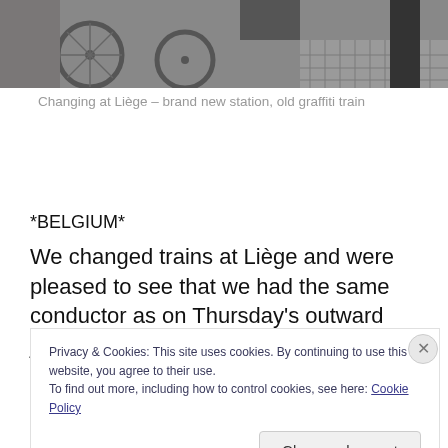[Figure (photo): Partial photograph of bicycles at a train station, cropped at top, showing wheels and a patterned floor, with a person standing nearby.]
Changing at Liège – brand new station, old graffiti train
*BELGIUM*
We changed trains at Liège and were pleased to see that we had the same conductor as on Thursday's outward journey, although how pleased she was to see us I can't
Privacy & Cookies: This site uses cookies. By continuing to use this website, you agree to their use.
To find out more, including how to control cookies, see here: Cookie Policy
Close and accept